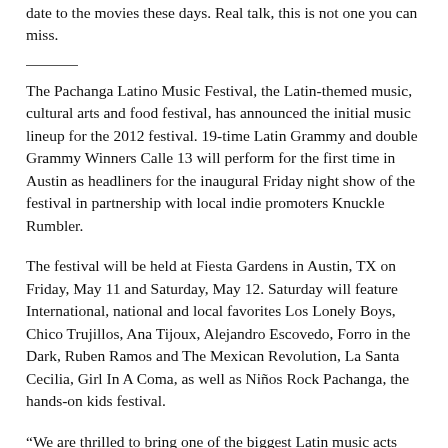date to the movies these days. Real talk, this is not one you can miss.
The Pachanga Latino Music Festival, the Latin-themed music, cultural arts and food festival, has announced the initial music lineup for the 2012 festival. 19-time Latin Grammy and double Grammy Winners Calle 13 will perform for the first time in Austin as headliners for the inaugural Friday night show of the festival in partnership with local indie promoters Knuckle Rumbler.
The festival will be held at Fiesta Gardens in Austin, TX on Friday, May 11 and Saturday, May 12. Saturday will feature International, national and local favorites Los Lonely Boys, Chico Trujillos, Ana Tijoux, Alejandro Escovedo, Forro in the Dark, Ruben Ramos and The Mexican Revolution, La Santa Cecilia, Girl In A Coma, as well as Niños Rock Pachanga, the hands-on kids festival.
“We are thrilled to bring one of the biggest Latin music acts